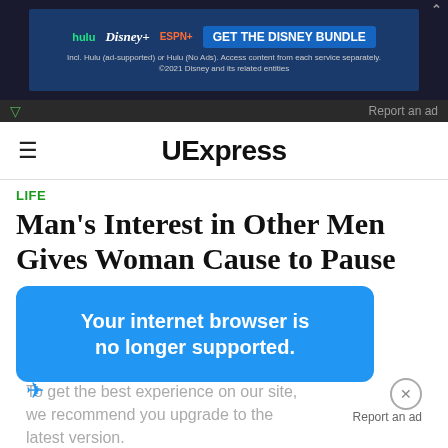[Figure (screenshot): Disney Bundle advertisement banner showing Hulu, Disney+, ESPN+ logos with 'GET THE DISNEY BUNDLE' call to action button]
UExpress
LIFE
Man's Interest in Other Men Gives Woman Cause to Pause
Your internet browser is no longer supported.
To get the best experience on our site, we recommend you upgrade to the latest version.
19. A month after I arrived, I met an American boy I'd